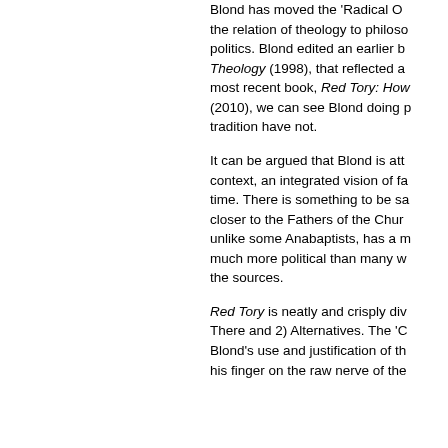Blond has moved the 'Radical O... the relation of theology to philoso... politics. Blond edited an earlier b... Theology (1998), that reflected a... most recent book, Red Tory: How... (2010), we can see Blond doing p... tradition have not.
It can be argued that Blond is att... context, an integrated vision of fa... time. There is something to be sa... closer to the Fathers of the Chur... unlike some Anabaptists, has a m... much more political than many w... the sources.
Red Tory is neatly and crisply div... There and 2) Alternatives. The 'C... Blond's use and justification of th... his finger on the raw nerve of the...